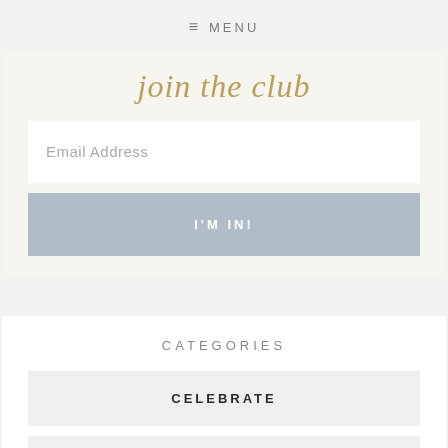≡ MENU
join the club
Email Address
I'M IN!
CATEGORIES
CELEBRATE
EXPLORE
LEARN